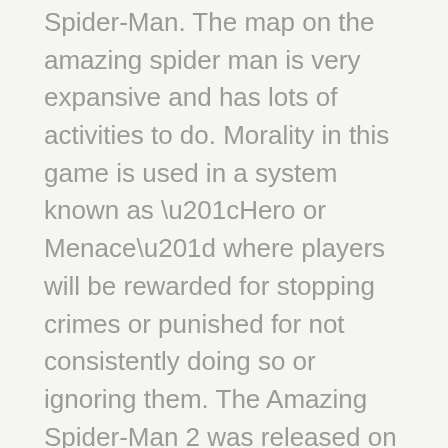Spider-Man. The map on the amazing spider man is very expansive and has lots of activities to do. Morality in this game is used in a system known as “Hero or Menace” where players will be rewarded for stopping crimes or punished for not consistently doing so or ignoring them. The Amazing Spider-Man 2 was released on May 7, 2014 and later released on xbox one in May 12.